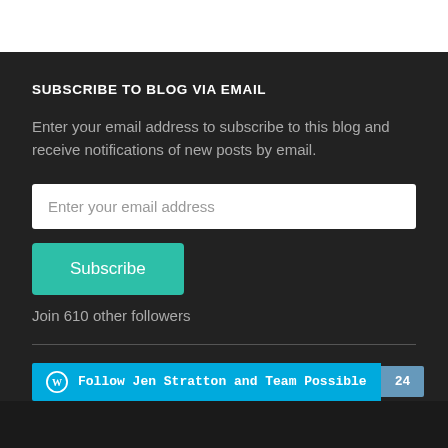SUBSCRIBE TO BLOG VIA EMAIL
Enter your email address to subscribe to this blog and receive notifications of new posts by email.
Enter your email address
Subscribe
Join 610 other followers
Follow Jen Stratton and Team Possible 24